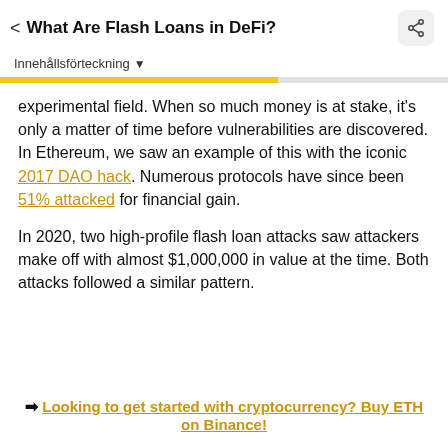< What Are Flash Loans in DeFi?
Innehållsförteckning ▾
experimental field. When so much money is at stake, it's only a matter of time before vulnerabilities are discovered. In Ethereum, we saw an example of this with the iconic 2017 DAO hack. Numerous protocols have since been 51% attacked for financial gain.
In 2020, two high-profile flash loan attacks saw attackers make off with almost $1,000,000 in value at the time. Both attacks followed a similar pattern.
➡ Looking to get started with cryptocurrency? Buy ETH on Binance!